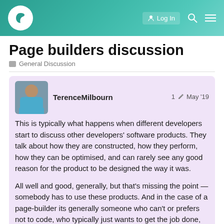Page builders discussion — forum header with logo, Log In, search, and menu icons
Page builders discussion
General Discussion
TerenceMilbourn  1 ✏  May '19
This is typically what happens when different developers start to discuss other developers' software products. They talk about how they are constructed, how they perform, how they can be optimised, and can rarely see any good reason for the product to be designed the way it was.

All well and good, generally, but that's missing the point — somebody has to use these products. And in the case of a page-builder its generally someone who can't or prefers not to code, who typically just wants to get the job done, with the least amount of effort, and in the quickest way. In fact, the exact opposite of the typical deve
1 / 9